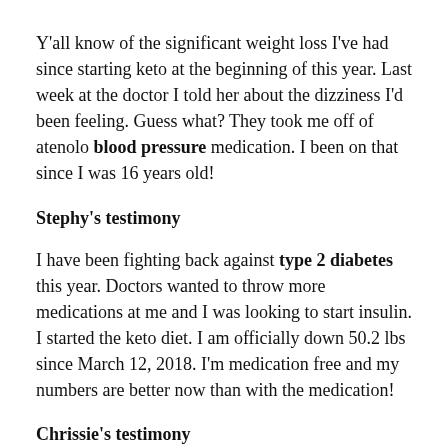Y'all know of the significant weight loss I've had since starting keto at the beginning of this year. Last week at the doctor I told her about the dizziness I'd been feeling. Guess what? They took me off of atenolo blood pressure medication. I been on that since I was 16 years old!
Stephy's testimony
I have been fighting back against type 2 diabetes this year. Doctors wanted to throw more medications at me and I was looking to start insulin. I started the keto diet. I am officially down 50.2 lbs since March 12, 2018. I'm medication free and my numbers are better now than with the medication!
Chrissie's testimony